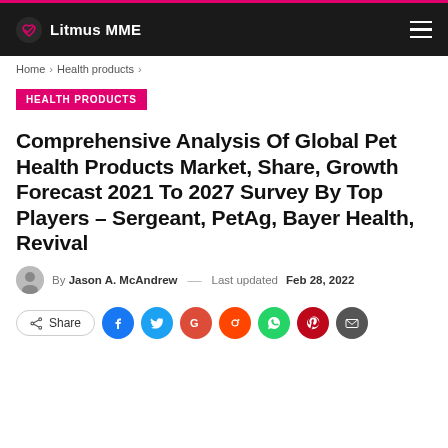Litmus MME
Home > Health products >
HEALTH PRODUCTS
Comprehensive Analysis Of Global Pet Health Products Market, Share, Growth Forecast 2021 To 2027 Survey By Top Players – Sergeant, PetAg, Bayer Health, Revival
By Jason A. McAndrew — Last updated Feb 28, 2022